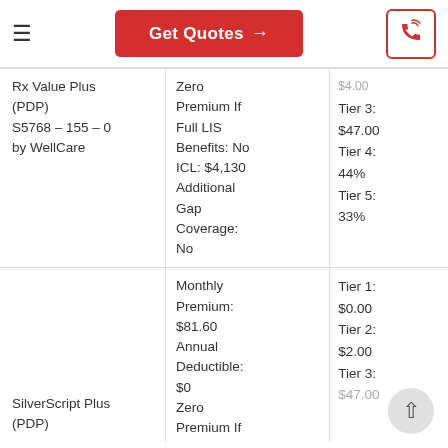Get Quotes →
| Plan | Plan Details | Cost |
| --- | --- | --- |
| Rx Value Plus (PDP)
S5768 – 155 – 0
by WellCare | Zero Premium If Full LIS Benefits: No ICL: $4,130 Additional Gap Coverage: No | Tier 3: $47.00 Tier 4: 44% Tier 5: 33% |
| SilverScript Plus (PDP) | Monthly Premium: $81.60 Annual Deductible: $0 Zero Premium If | Tier 1: $0.00 Tier 2: $2.00 Tier 3: $47.00 |